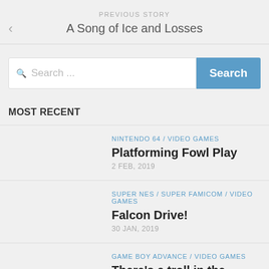PREVIOUS STORY
A Song of Ice and Losses
Search ...
MOST RECENT
NINTENDO 64 / VIDEO GAMES
Platforming Fowl Play
2 FEB, 2019
SUPER NES / SUPER FAMICOM / VIDEO GAMES
Falcon Drive!
30 JAN, 2019
GAME BOY ADVANCE / VIDEO GAMES
There's a troll in the dungeon!